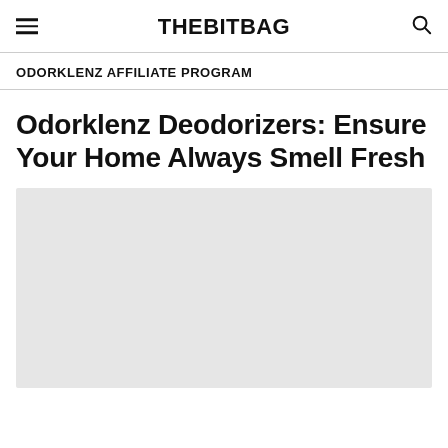THEBITBAG
ODORKLENZ AFFILIATE PROGRAM
Odorklenz Deodorizers: Ensure Your Home Always Smell Fresh
[Figure (photo): Featured article image placeholder, light gray rectangle]